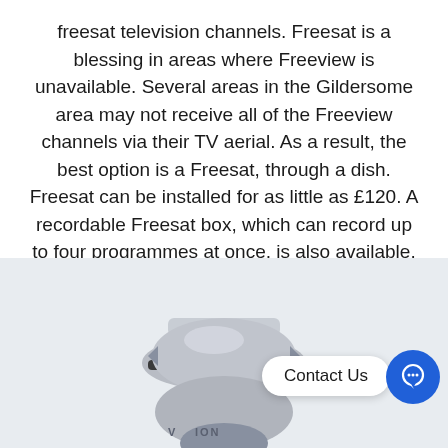freesat television channels. Freesat is a blessing in areas where Freeview is unavailable. Several areas in the Gildersome area may not receive all of the Freeview channels via their TV aerial. As a result, the best option is a Freesat, through a dish. Freesat can be installed for as little as £120. A recordable Freesat box, which can record up to four programmes at once, is also available.
[Figure (photo): A security camera (dome/PTZ style) shown in a light blue-grey background, partially cropped at the bottom. Overlaid with a 'Contact Us' button and a blue chat bubble icon button.]